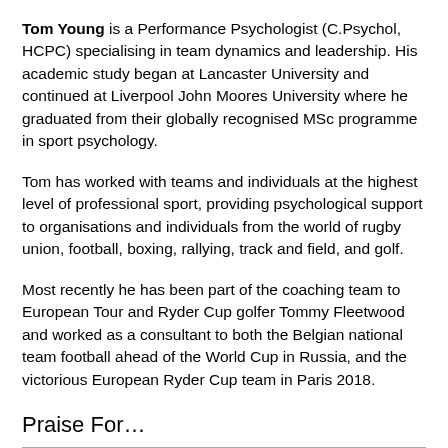Tom Young is a Performance Psychologist (C.Psychol, HCPC) specialising in team dynamics and leadership. His academic study began at Lancaster University and continued at Liverpool John Moores University where he graduated from their globally recognised MSc programme in sport psychology.
Tom has worked with teams and individuals at the highest level of professional sport, providing psychological support to organisations and individuals from the world of rugby union, football, boxing, rallying, track and field, and golf.
Most recently he has been part of the coaching team to European Tour and Ryder Cup golfer Tommy Fleetwood and worked as a consultant to both the Belgian national team football ahead of the World Cup in Russia, and the victorious European Ryder Cup team in Paris 2018.
Praise For…
There is no such thing as a single "recipe for success" . . . yet this book shows that in the world of professional sport, the